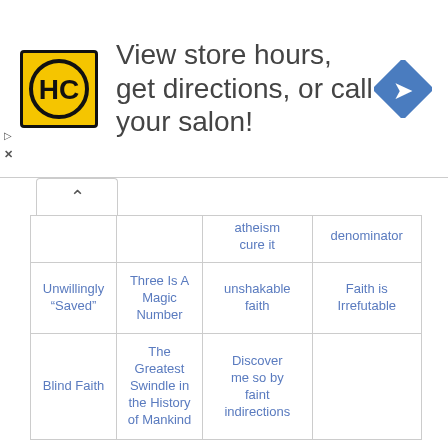[Figure (infographic): Advertisement banner: HC logo (yellow/black), text 'View store hours, get directions, or call your salon!', blue diamond navigation icon]
|  |  | atheism cure it | denominator |
| Unwillingly "Saved" | Three Is A Magic Number | unshakable faith | Faith is Irrefutable |
| Blind Faith | The Greatest Swindle in the History of Mankind | Discover me so by faint indirections |  |
Log in or register to write something here or to contact authors.
Sign in
Recommended Reading